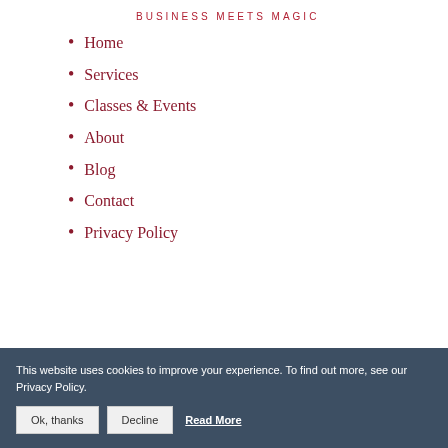BUSINESS MEETS MAGIC
Home
Services
Classes & Events
About
Blog
Contact
Privacy Policy
This website uses cookies to improve your experience. To find out more, see our Privacy Policy.
Ok, thanks | Decline | Read More